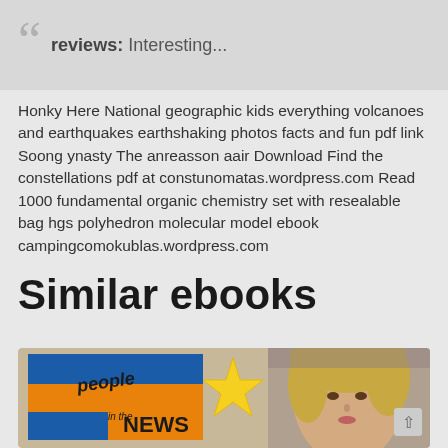reviews: Interesting...
Honky Here National geographic kids everything volcanoes and earthquakes earthshaking photos facts and fun pdf link Soong ynasty The anreasson aair Download Find the constellations pdf at constunomatas.wordpress.com Read 1000 fundamental organic chemistry set with resealable bag hgs polyhedron molecular model ebook campingcomokublas.wordpress.com
Similar ebooks
[Figure (photo): Book cover for 'People in the News' showing a blonde woman and a colorful logo with blue and orange rectangles and a yellow star]